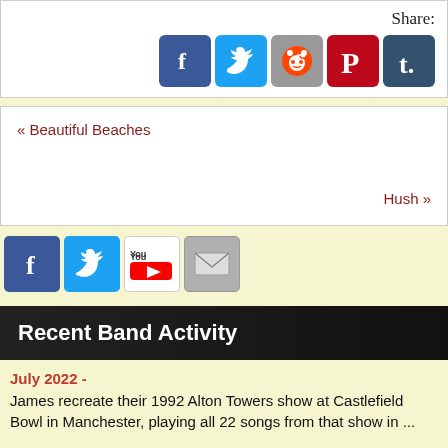Share:
[Figure (screenshot): Social share icons: Facebook, Twitter, Reddit, Pinterest, Tumblr]
« Beautiful Beaches
Hush »
[Figure (screenshot): Social footer icons: Facebook, Twitter, YouTube, Email]
Recent Band Activity
July 2022 -
James recreate their 1992 Alton Towers show at Castlefield Bowl in Manchester, playing all 22 songs from that show in ...